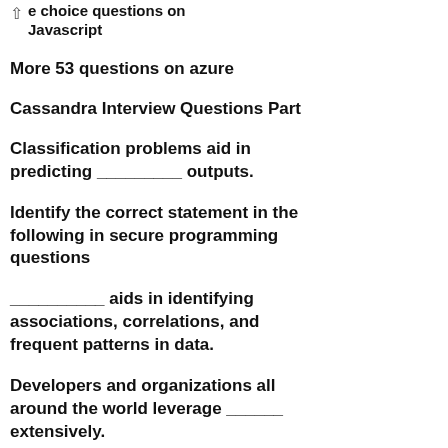e choice questions on Javascript
More 53 questions on azure
Cassandra Interview Questions Part
Classification problems aid in predicting _________ outputs.
Identify the correct statement in the following in secure programming questions
__________ aids in identifying associations, correlations, and frequent patterns in data.
Developers and organizations all around the world leverage ______ extensively.
In Master-Slave databases, all writes are written to the